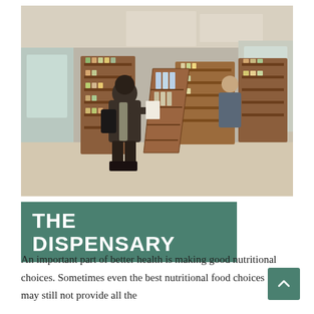[Figure (photo): Interior of a dispensary/health store with wooden shelves stocked with nutritional supplements and products. A woman in a dark jacket stands looking at a paper, and a man can be seen further in the store. Multiple tall wooden shelving units fill the room, including a slanted display stand in the center.]
THE DISPENSARY
An important part of better health is making good nutritional choices. Sometimes even the best nutritional food choices may still not provide all the